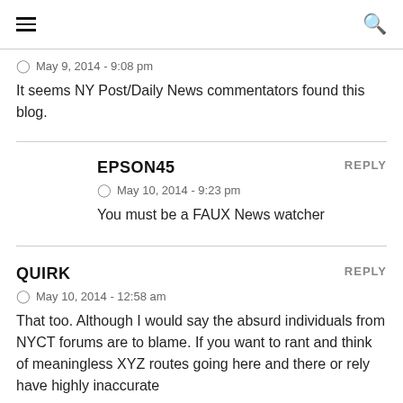≡  🔍
May 9, 2014 - 9:08 pm
It seems NY Post/Daily News commentators found this blog.
EPSON45  REPLY
May 10, 2014 - 9:23 pm
You must be a FAUX News watcher
QUIRK  REPLY
May 10, 2014 - 12:58 am
That too. Although I would say the absurd individuals from NYCT forums are to blame. If you want to rant and think of meaningless XYZ routes going here and there or rely have highly inaccurate